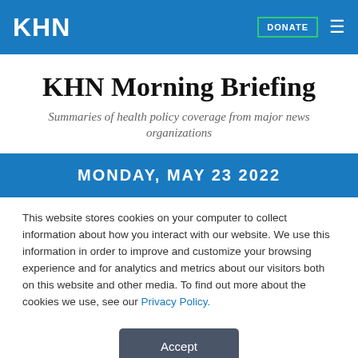KHN
KHN Morning Briefing
Summaries of health policy coverage from major news organizations
MONDAY, MAY 23 2022
This website stores cookies on your computer to collect information about how you interact with our website. We use this information in order to improve and customize your browsing experience and for analytics and metrics about our visitors both on this website and other media. To find out more about the cookies we use, see our Privacy Policy.
Accept